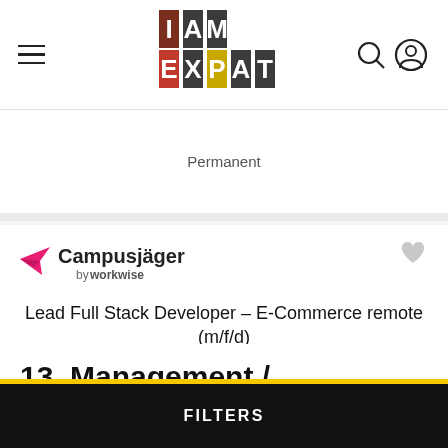I AM EXPAT
Permanent
[Figure (logo): Campusjäger by workwise logo with pink paper plane icon]
Lead Full Stack Developer – E-Commerce remote (m/f/d)
MANAGEMENT / CONSULTING | Stuttgart
13 Management / Consulting English-speaking jobs in Stuttgart, Germany
FILTERS